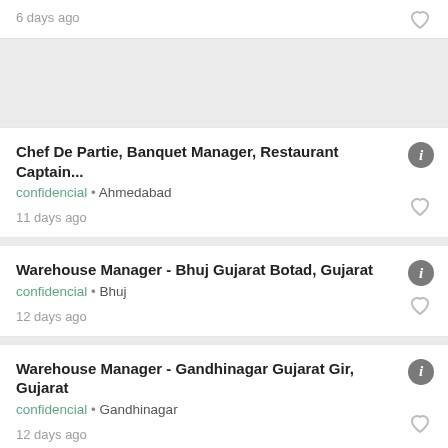6 days ago
Chef De Partie, Banquet Manager, Restaurant Captain... | confidencial • Ahmedabad | 11 days ago
Warehouse Manager - Bhuj Gujarat Botad, Gujarat | confidencial • Bhuj | 12 days ago
Warehouse Manager - Gandhinagar Gujarat Gir, Gujarat | confidencial • Gandhinagar | 12 days ago
Warehouse Manager - Morbi Gujarat Nadiad, Gujarat | confidencial • Morvi